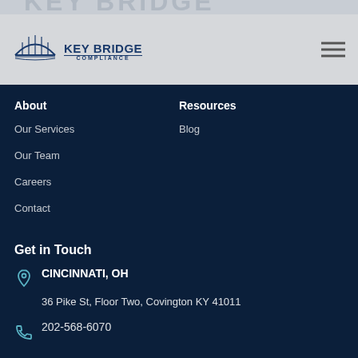[Figure (logo): Key Bridge Compliance logo with bridge illustration and company name]
About
Our Services
Our Team
Careers
Contact
Resources
Blog
Get in Touch
CINCINNATI, OH
36 Pike St, Floor Two, Covington KY 41011
202-568-6070